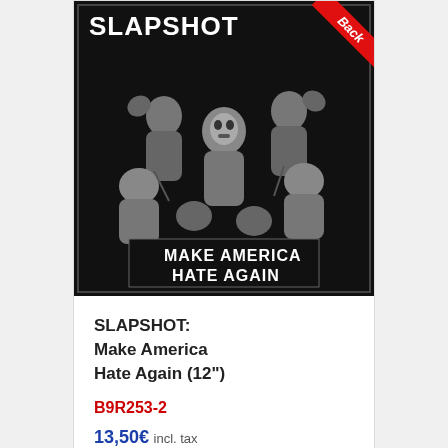[Figure (illustration): Album cover for SLAPSHOT 'Make America Hate Again' showing black and white illustration of wrestlers/fighters with text 'SLAPSHOT' at top and 'MAKE AMERICA HATE AGAIN' at bottom. A red diagonal ribbon reads 'Back' in the top-right corner.]
SLAPSHOT: Make America Hate Again (12")
B9R253-2
13,50€ incl. tax
Add to cart   Details